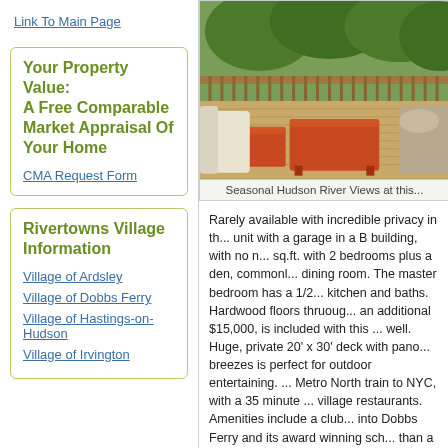Link To Main Page
Your Property Value: A Free Comparable Market Appraisal Of Your Home
CMA Request Form
Rivertowns Village Information
Village of Ardsley
Village of Dobbs Ferry
Village of Hastings-on-Hudson
Village of Irvington
[Figure (photo): Outdoor deck with orange/red furniture including chairs and a coffee table, with wooden railing and greenery in background]
Seasonal Hudson River Views at this...
Rarely available with incredible privacy in th... unit with a garage in a B building, with no n... sq.ft. with 2 bedrooms plus a den, commonl... dining room. The master bedroom has a 1/2... kitchen and baths. Hardwood floors thruoug... an additional $15,000, is included with this ... well. Huge, private 20' x 30' deck with pano... breezes is perfect for outdoor entertaining. ... Metro North train to NYC, with a 35 minute ... village restaurants. Amenities include a club... into Dobbs Ferry and its award winning sch... than a house. $425,000. Call me at 914-960...
Public Open House: Sunday June 12 Fro...